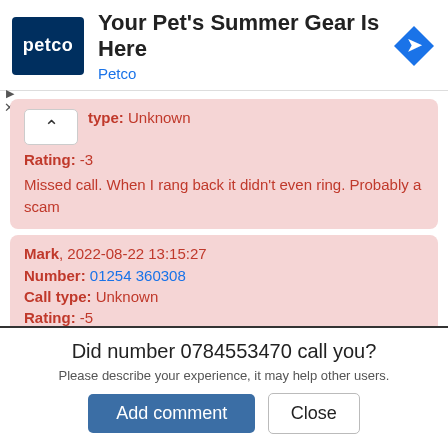[Figure (screenshot): Petco advertisement banner with logo, title 'Your Pet's Summer Gear Is Here', subtitle 'Petco', and navigation arrow icon]
type: Unknown
Rating: -3
Missed call. When I rang back it didn't even ring. Probably a scam
Mark, 2022-08-22 13:15:27
Number: 01254 360308
Call type: Unknown
Rating: -5
Did number 0784553470 call you?
Please describe your experience, it may help other users.
Add comment   Close